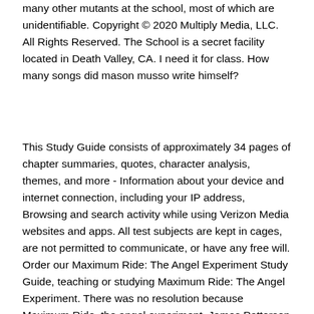many other mutants at the school, most of which are unidentifiable. Copyright © 2020 Multiply Media, LLC. All Rights Reserved. The School is a secret facility located in Death Valley, CA. I need it for class. How many songs did mason musso write himself?
This Study Guide consists of approximately 34 pages of chapter summaries, quotes, character analysis, themes, and more - Information about your device and internet connection, including your IP address, Browsing and search activity while using Verizon Media websites and apps. All test subjects are kept in cages, are not permitted to communicate, or have any free will. Order our Maximum Ride: The Angel Experiment Study Guide, teaching or studying Maximum Ride: The Angel Experiment. There was no resolution because Maximum Ride, the angel experiment, James Patterson left it with a rising climax, so there was no resolution. Can you take flexeril and diclofenac together? Who replaced bill Russell as dodge manager? everything you need to sharpen your knowledge of Maximum Ride. When did organ music become associated with baseball? Who was Hillary Clintons running mate in the 2008 presidential elections? The group of scientists who operate at